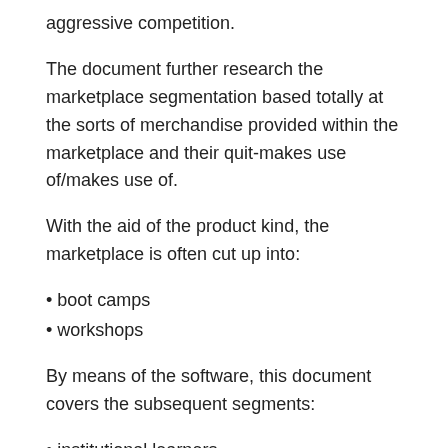aggressive competition.
The document further research the marketplace segmentation based totally at the sorts of merchandise provided within the marketplace and their quit-makes use of/makes use of.
With the aid of the product kind, the marketplace is often cut up into:
• boot camps
• workshops
By means of the software, this document covers the subsequent segments:
• institutional learners
• person learners